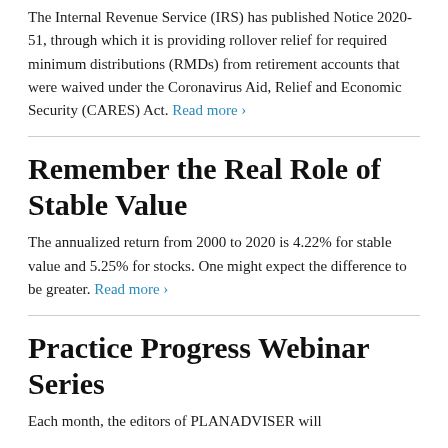The Internal Revenue Service (IRS) has published Notice 2020-51, through which it is providing rollover relief for required minimum distributions (RMDs) from retirement accounts that were waived under the Coronavirus Aid, Relief and Economic Security (CARES) Act. Read more ›
Remember the Real Role of Stable Value
The annualized return from 2000 to 2020 is 4.22% for stable value and 5.25% for stocks. One might expect the difference to be greater. Read more ›
Practice Progress Webinar Series
Each month, the editors of PLANADVISER will